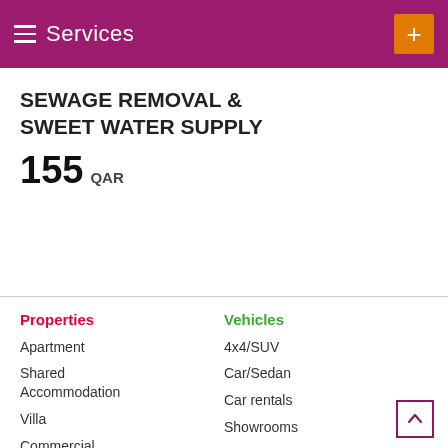Services
SEWAGE REMOVAL & SWEET WATER SUPPLY
155 QAR
Properties
Apartment
Shared Accommodation
Villa
Commercial
Vehicles
4x4/SUV
Car/Sedan
Car rentals
Showrooms
Classifieds
Mobile phones
Tablets
Services
Labor & Moving
Household Services